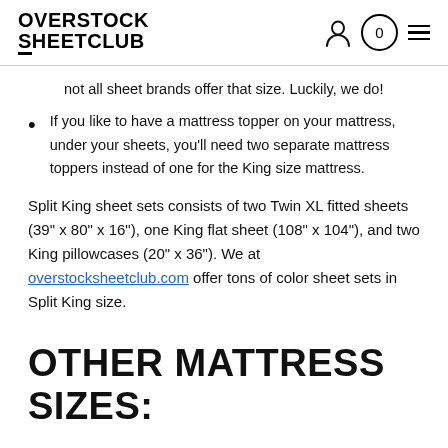OVERSTOCK SHEETCLUB
not all sheet brands offer that size. Luckily, we do!
If you like to have a mattress topper on your mattress, under your sheets, you'll need two separate mattress toppers instead of one for the King size mattress.
Split King sheet sets consists of two Twin XL fitted sheets (39" x 80" x 16"), one King flat sheet (108" x 104"), and two King pillowcases (20" x 36"). We at overstocksheetclub.com offer tons of color sheet sets in Split King size.
OTHER MATTRESS SIZES: